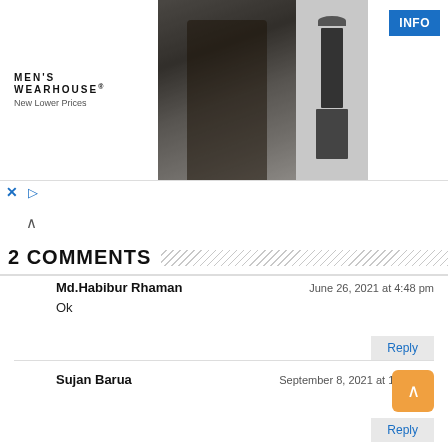[Figure (photo): Men's Wearhouse advertisement banner with couple in formal wear and mannequin in suit, with INFO button]
2 COMMENTS
Md.Habibur Rhaman — June 26, 2021 at 4:48 pm
Ok
Sujan Barua — September 8, 2021 at 10:53 am